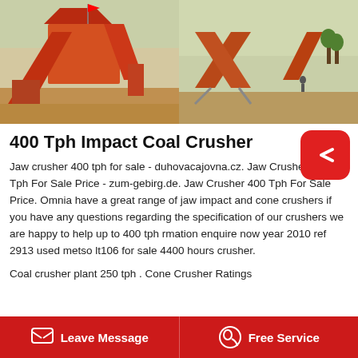[Figure (photo): Two side-by-side photos of orange/red industrial coal crusher and conveyor machinery at a mining site]
400 Tph Impact Coal Crusher
Jaw crusher 400 tph for sale - duhovacajovna.cz. Jaw Crusher 400 Tph For Sale Price - zum-gebirg.de. Jaw Crusher 400 Tph For Sale Price. Omnia have a great range of jaw impact and cone crushers if you have any questions regarding the specification of our crushers we are happy to help up to 400 tph rmation enquire now year 2010 ref 2913 used metso lt106 for sale 4400 hours crusher.
Coal crusher plant 250 tph . Cone Crusher Ratings
Leave Message   Free Service